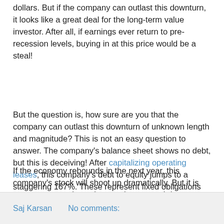dollars. But if the company can outlast this downturn, it looks like a great deal for the long-term value investor. After all, if earnings ever return to pre-recession levels, buying in at this price would be a steal!
But the question is, how sure are you that the company can outlast this downturn of unknown length and magnitude? This is not an easy question to answer. The company's balance sheet shows no debt, but this is deceiving! After capitalizing operating leases, this company's debt to equity jumps to a staggering 167%. These represent fixed obligations owed to landlords. If revenues drop for several years, these fixed costs cannot be reduced (unlike variable costs).
If the economy rebounds in the next year, this company's stock will shoot up dramatically. But it is not set up to outlast a long and protracted downturn, and so it doesn't represent the "sure things" we usually like to swing for.
Saj Karsan    No comments: